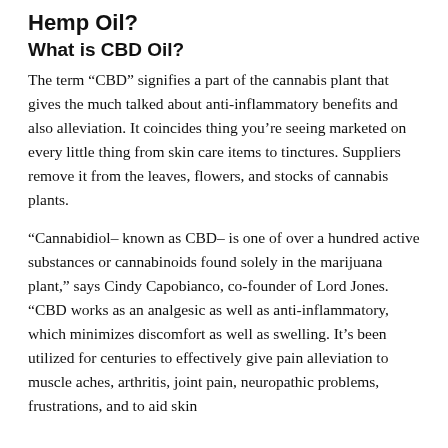Hemp Oil?
What is CBD Oil?
The term “CBD” signifies a part of the cannabis plant that gives the much talked about anti-inflammatory benefits and also alleviation. It coincides thing you’re seeing marketed on every little thing from skin care items to tinctures. Suppliers remove it from the leaves, flowers, and stocks of cannabis plants.
“Cannabidiol– known as CBD– is one of over a hundred active substances or cannabinoids found solely in the marijuana plant,” says Cindy Capobianco, co-founder of Lord Jones. “CBD works as an analgesic as well as anti-inflammatory, which minimizes discomfort as well as swelling. It’s been utilized for centuries to effectively give pain alleviation to muscle aches, arthritis, joint pain, neuropathic problems, frustrations, and to aid skin…